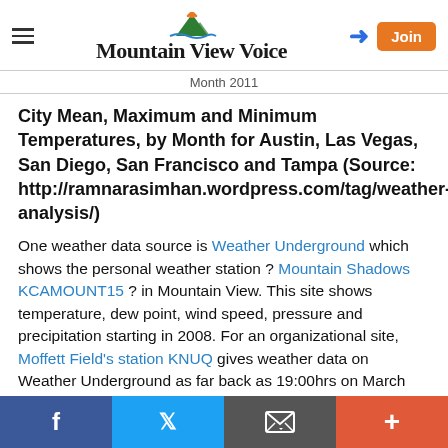Mountain View Voice
Month 2011
City Mean, Maximum and Minimum Temperatures, by Month for Austin, Las Vegas, San Diego, San Francisco and Tampa (Source: http://ramnarasimhan.wordpress.com/tag/weather-analysis/)
One weather data source is Weather Underground which shows the personal weather station ? Mountain Shadows KCAMOUNT15 ? in Mountain View. This site shows temperature, dew point, wind speed, pressure and precipitation starting in 2008. For an organizational site, Moffett Field's station KNUQ gives weather data on Weather Underground as far back as 19:00hrs on March
Facebook  Twitter  Email  More